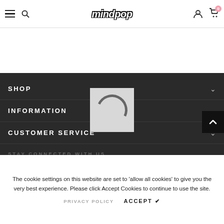mindpop — navigation header with hamburger menu, search, user icon, cart (0)
[Figure (screenshot): Mindpop e-commerce website screenshot showing dark footer with SHOP, INFORMATION, CUSTOMER SERVICE accordion sections, a loading spinner overlay, scroll-to-top button, STAY CONNECTED WITH US social icons, and a cookie consent bar at the bottom.]
SHOP
INFORMATION
CUSTOMER SERVICE
STAY CONNECTED WITH US
The cookie settings on this website are set to 'allow all cookies' to give you the very best experience. Please click Accept Cookies to continue to use the site.
PRIVACY POLICY   ACCEPT ✔